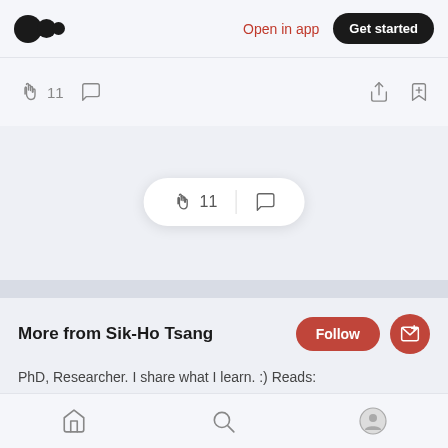Medium logo | Open in app | Get started
[Figure (screenshot): Top action bar with clap (11) and comment icons on left, share and bookmark icons on right]
[Figure (screenshot): Floating pill with clap (11) and comment icons]
More from Sik-Ho Tsang
PhD, Researcher. I share what I learn. :) Reads: https://bit.ly/33TDhxG, LinkedIn: https://www.linkedin.com/in/sh-tsang/, Twitter: https://twitter.com/SHTsang3
Home | Search | Profile